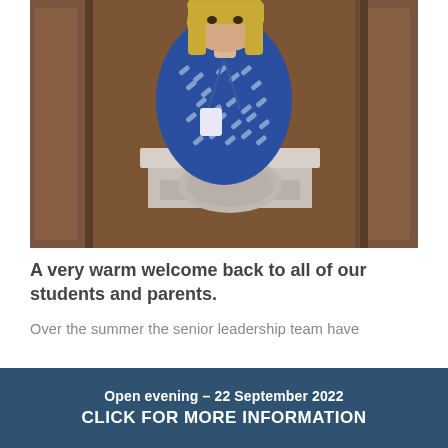[Figure (photo): A woman with blonde hair wearing a blue patterned top standing in front of wooden panelled walls and a white stone fireplace mantle. She has a lanyard and ID badge.]
A very warm welcome back to all of our students and parents.
Over the summer the senior leadership team have
Open evening - 22 September 2022
CLICK FOR MORE INFORMATION